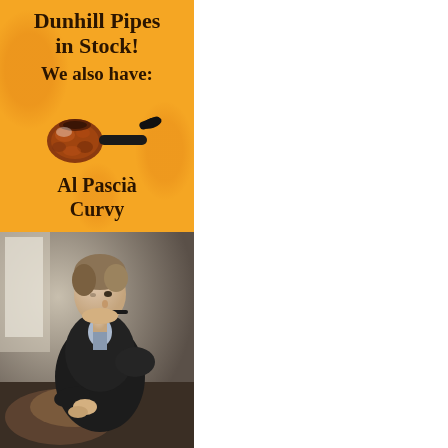[Figure (illustration): Orange advertisement banner for a pipe shop. Text reads 'Dunhill Pipes in Stock! We also have:' with an image of an Al Pascià Curvy pipe (rustic briar pipe with black mouthpiece) and text 'Al Pascià Curvy' at the bottom. Orange background with subtle decorative swirl pattern.]
[Figure (photo): Black and white / desaturated photograph of a young man in a dark suit jacket sitting in a leather chair, smoking a pipe, looking to the side toward a window. Indoor setting with stone or concrete wall background.]